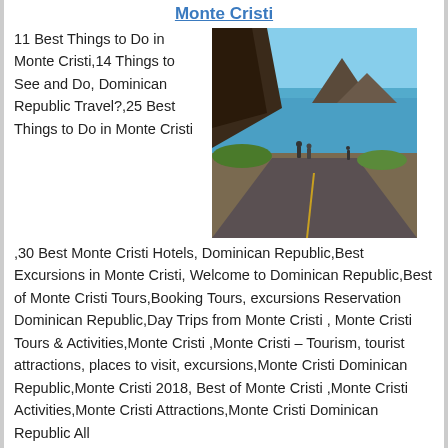Monte Cristi
[Figure (photo): Coastal road scene in Monte Cristi, Dominican Republic with rocky cliffs, turquoise sea, and people walking on a road]
11 Best Things to Do in Monte Cristi,14 Things to See and Do, Dominican Republic Travel?,25 Best Things to Do in Monte Cristi ,30 Best Monte Cristi Hotels, Dominican Republic,Best Excursions in Monte Cristi, Welcome to Dominican Republic,Best of Monte Cristi Tours,Booking Tours, excursions Reservation Dominican Republic,Day Trips from Monte Cristi , Monte Cristi Tours & Activities,Monte Cristi ,Monte Cristi – Tourism, tourist attractions, places to visit, excursions,Monte Cristi Dominican Republic,Monte Cristi 2018, Best of Monte Cristi ,Monte Cristi Activities,Monte Cristi Attractions,Monte Cristi Dominican Republic All